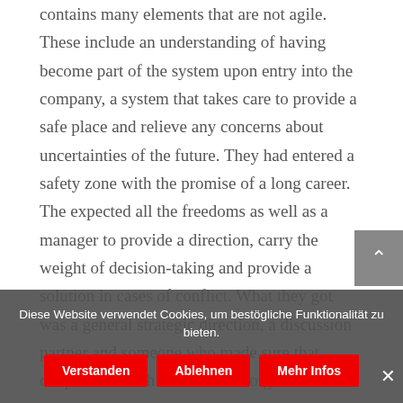contains many elements that are not agile. These include an understanding of having become part of the system upon entry into the company, a system that takes care to provide a safe place and relieve any concerns about uncertainties of the future. They had entered a safety zone with the promise of a long career. The expected all the freedoms as well as a manager to provide a direction, carry the weight of decision-taking and provide a solution in cases of conflict. What they got was a general strategic direction, a discussion partner and someone who made sure that cooperation with the umbrella organization would work. They did not get any decisions on the content of their topic, their project.
That in itself was too much. When it was then decided that the feedback talks would be conducted in the group … out of their depart. As no-one had any knowledge or
Diese Website verwendet Cookies, um bestögliche Funktionalität zu bieten.
Verstanden  Ablehnen  Mehr Infos